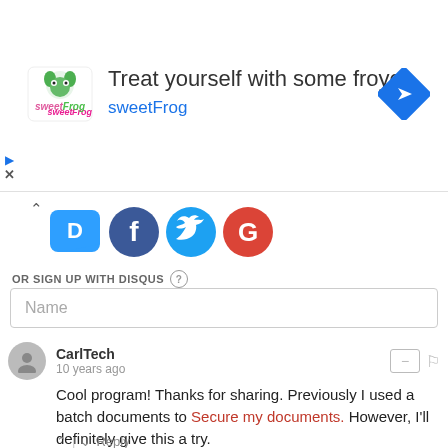[Figure (other): sweetFrog advertisement banner: logo on left, headline 'Treat yourself with some froyo', subtext 'sweetFrog', blue diamond arrow icon on right]
[Figure (other): Social login icons: Disqus (blue speech bubble), Facebook (blue circle), Twitter (light blue circle), Google (red circle)]
OR SIGN UP WITH DISQUS ?
Name
CarlTech
10 years ago
Cool program! Thanks for sharing. Previously I used a batch documents to Secure my documents. However, I'll definitely give this a try.
EJA
10 years ago
I use safehouse the free edition.